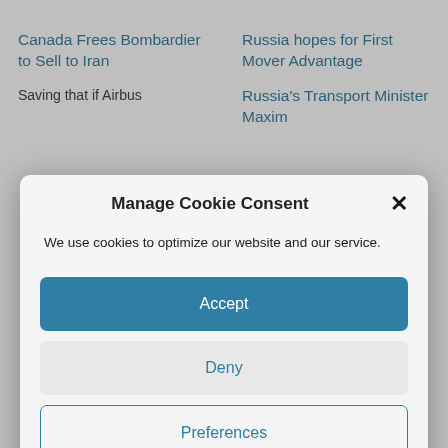Canada Frees Bombardier to Sell to Iran
Russia hopes for First Mover Advantage
Saving that if Airbus
Russia's Transport Minister Maxim
Manage Cookie Consent
We use cookies to optimize our website and our service.
Accept
Deny
Preferences
Cookie Policy   Privacy Policy